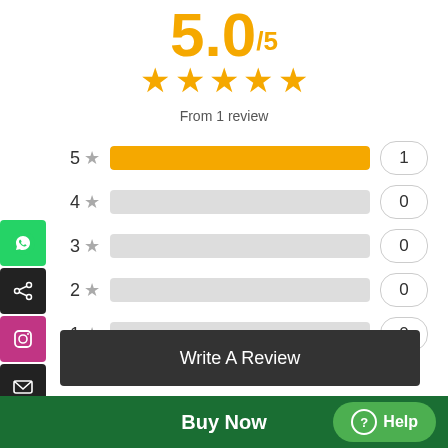5.0/5
[Figure (other): Five gold stars rating]
From 1 review
[Figure (bar-chart): Rating distribution]
Write A Review
Sort
Shnidhi Verified
Buy Now
Help